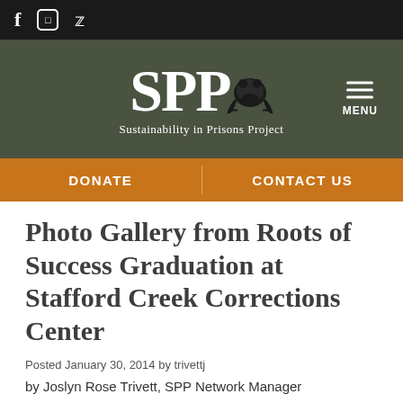[Figure (logo): Social media icons bar: Facebook (f), Instagram (camera icon), Twitter (bird icon) on dark background]
[Figure (logo): SPP logo with frog illustration and text 'Sustainability in Prisons Project' on dark green background, with hamburger menu and MENU label on right]
DONATE   CONTACT US
Photo Gallery from Roots of Success Graduation at Stafford Creek Corrections Center
Posted January 30, 2014 by trivettj
by Joslyn Rose Trivett, SPP Network Manager
“The program is called Roots of Success, but it feels like the course is a seed planted in our minds.”